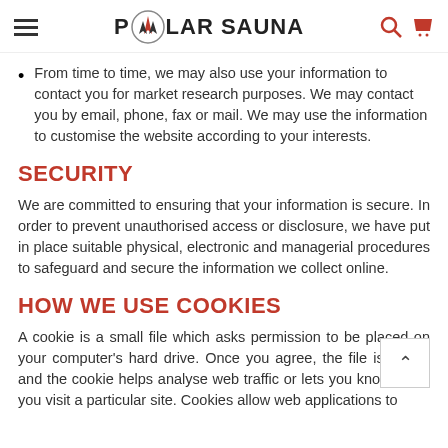POLAR SAUNA
From time to time, we may also use your information to contact you for market research purposes. We may contact you by email, phone, fax or mail. We may use the information to customise the website according to your interests.
SECURITY
We are committed to ensuring that your information is secure. In order to prevent unauthorised access or disclosure, we have put in place suitable physical, electronic and managerial procedures to safeguard and secure the information we collect online.
HOW WE USE COOKIES
A cookie is a small file which asks permission to be placed on your computer's hard drive. Once you agree, the file is added and the cookie helps analyse web traffic or lets you know when you visit a particular site. Cookies allow web applications to